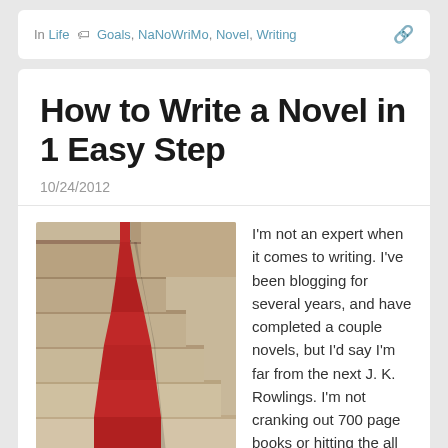In Life  Goals, NaNoWriMo, Novel, Writing
How to Write a Novel in 1 Easy Step
10/24/2012
[Figure (photo): Staircase with red carpet running up stone steps]
I'm not an expert when it comes to writing.  I've been blogging for several years, and have completed a couple novels, but I'd say I'm far from the next J. K. Rowlings.  I'm not cranking out 700 page books or hitting the all time best sellers list.  I haven't even finished editing my novel I wrote last November (It's coming along though).  But today, I've